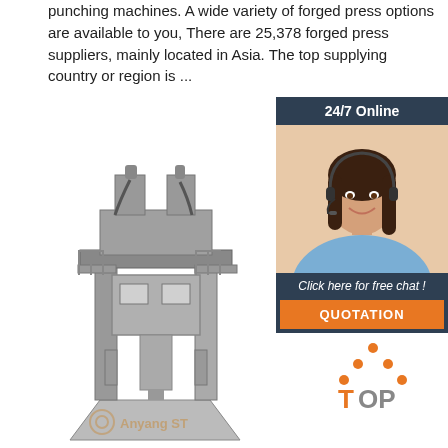punching machines. A wide variety of forged press options are available to you, There are 25,378 forged press suppliers, mainly located in Asia. The top supplying country or region is ...
Get Price
[Figure (photo): 24/7 Online chat panel with a female customer service representative wearing a headset, smiling. Includes 'Click here for free chat!' text and a QUOTATION button.]
[Figure (photo): Black and white photograph of a large industrial forging press machine viewed from below against a white background, with Anyang ST watermark logo.]
[Figure (logo): TOP logo with orange dots arranged in a triangle above the word TOP in orange and grey text.]